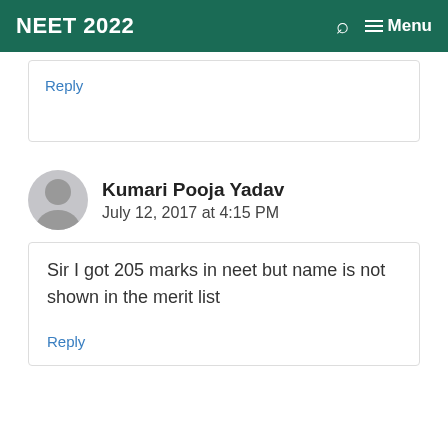NEET 2022  🔍  ☰ Menu
Reply
Kumari Pooja Yadav
July 12, 2017 at 4:15 PM
Sir I got 205 marks in neet but name is not shown in the merit list
Reply